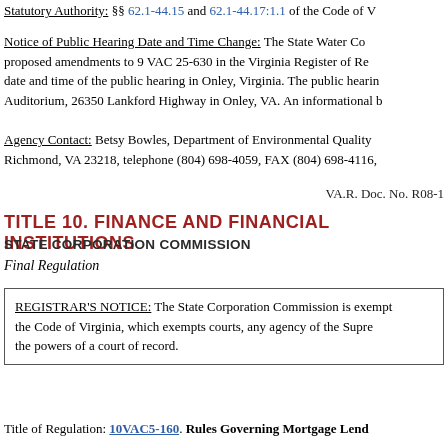Statutory Authority: §§ 62.1-44.15 and 62.1-44.17:1.1 of the Code of V…
Notice of Public Hearing Date and Time Change: The State Water Co… proposed amendments to 9 VAC 25-630 in the Virginia Register of Re… date and time of the public hearing in Onley, Virginia. The public hearin… Auditorium, 26350 Lankford Highway in Onley, VA. An informational b…
Agency Contact: Betsy Bowles, Department of Environmental Quality… Richmond, VA 23218, telephone (804) 698-4059, FAX (804) 698-4116,…
VA.R. Doc. No. R08-1
TITLE 10. FINANCE AND FINANCIAL INSTITUTIONS
STATE CORPORATION COMMISSION
Final Regulation
REGISTRAR'S NOTICE: The State Corporation Commission is exempt… the Code of Virginia, which exempts courts, any agency of the Supre… the powers of a court of record.
Title of Regulation: 10VAC5-160. Rules Governing Mortgage Lend…